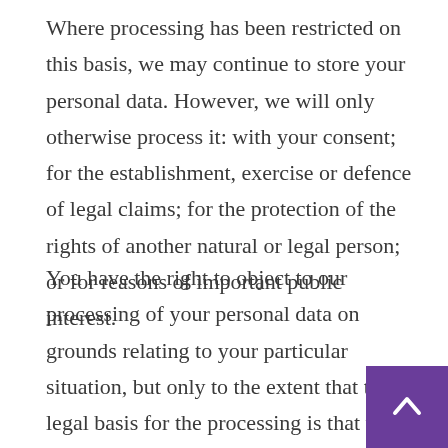Where processing has been restricted on this basis, we may continue to store your personal data. However, we will only otherwise process it: with your consent; for the establishment, exercise or defence of legal claims; for the protection of the rights of another natural or legal person; or for reasons of important public interest.
You have the right to object to our processing of your personal data on grounds relating to your particular situation, but only to the extent that the legal basis for the processing is that the processing is necessary for: the performance of a task carried out in the public interest or in the exercise of any official authority vested in us; or the purposes of the legitimate interests pursued by us or a third party. If you make such an objection, we will cease to process the personal information unless we can